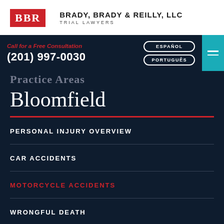[Figure (logo): BBR red logo box with firm name Brady, Brady & Reilly, LLC Trial Lawyers]
Call for a Free Consultation (201) 997-0030 | ESPAÑOL | PORTUGUÊS
Bloomfield
PERSONAL INJURY OVERVIEW
CAR ACCIDENTS
MOTORCYCLE ACCIDENTS
WRONGFUL DEATH